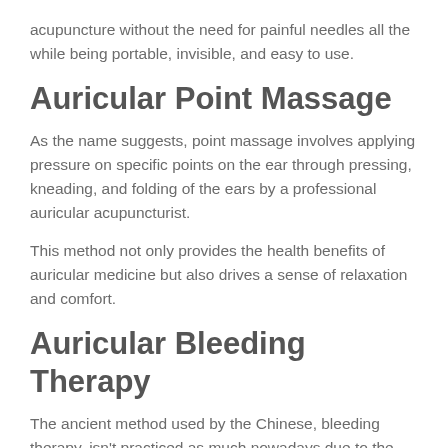acupuncture without the need for painful needles all the while being portable, invisible, and easy to use.
Auricular Point Massage
As the name suggests, point massage involves applying pressure on specific points on the ear through pressing, kneading, and folding of the ears by a professional auricular acupuncturist.
This method not only provides the health benefits of auricular medicine but also drives a sense of relaxation and comfort.
Auricular Bleeding Therapy
The ancient method used by the Chinese, bleeding therapy, isn't practiced as much nowadays due to the invasive nature